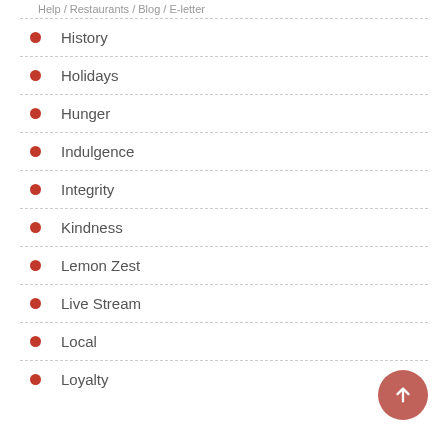Help / Restaurants / Blog / E-letter
History
Holidays
Hunger
Indulgence
Integrity
Kindness
Lemon Zest
Live Stream
Local
Loyalty